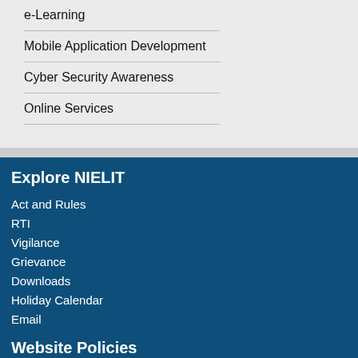e-Learning
Mobile Application Development
Cyber Security Awareness
Online Services
Explore NIELIT
Act and Rules
RTI
Vigilance
Grievance
Downloads
Holiday Calendar
Email
Website Policies
COVID Compliance
Sitemap
Disclaimer